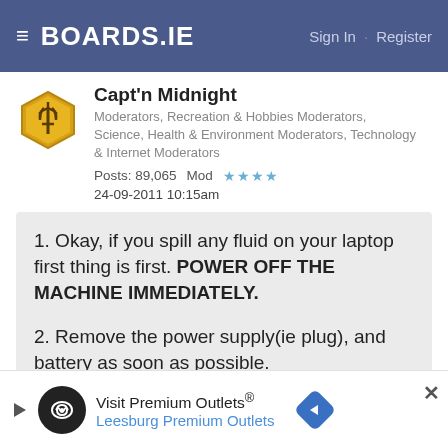BOARDS.IE  Sign In · Register
Capt'n Midnight
Moderators, Recreation & Hobbies Moderators, Science, Health & Environment Moderators, Technology & Internet Moderators
Posts: 89,065   Mod ★★★★
24-09-2011 10:15am
1. Okay, if you spill any fluid on your laptop first thing is first. POWER OFF THE MACHINE IMMEDIATELY.

2. Remove the power supply(ie plug), and battery as soon as possible.
If it's anything more than a few drops I wouldn't waste
Visit Premium Outlets® Leesburg Premium Outlets